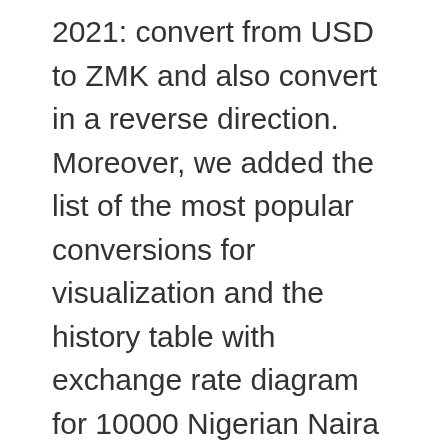2021: convert from USD to ZMK and also convert in a reverse direction. Moreover, we added the list of the most popular conversions for visualization and the history table with exchange rate diagram for 10000 Nigerian Naira (NGN) to Zambian Kwacha (ZMW) from Friday, 25/12/2020 till Friday, 18/12/2020. Do you know how much is 1000000 Zambian Kwacha in US Dollars (USD) at the current exchange rate. Currency converter The converter shows the conversion of 1 Zambian kwacha to Tanzanian shilling as of Wednesday, 23 December 2020. History tables. You can convert Zambian Kwacha to other currencies from the drop down list. ZMW NGN: 1 ZMW: 18.0255 NGN: 5 ZMW: